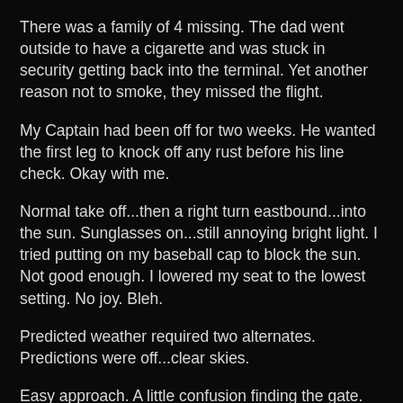There was a family of 4 missing. The dad went outside to have a cigarette and was stuck in security getting back into the terminal. Yet another reason not to smoke, they missed the flight.
My Captain had been off for two weeks. He wanted the first leg to knock off any rust before his line check. Okay with me.
Normal take off...then a right turn eastbound...into the sun. Sunglasses on...still annoying bright light. I tried putting on my baseball cap to block the sun. Not good enough. I lowered my seat to the lowest setting. No joy. Bleh.
Predicted weather required two alternates. Predictions were off...clear skies.
Easy approach. A little confusion finding the gate.
I'd never been there before. For 10+ years my Captain had always parked at the same gate. As we taxied toward that gate we saw all our normal ground equipment...but